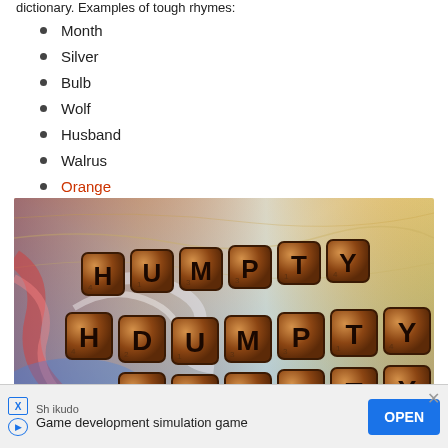dictionary. Examples of tough rhymes:
Month
Silver
Bulb
Wolf
Husband
Walrus
Orange
[Figure (photo): Scrabble tiles spelling HUMPTY DUMPTY on a sandy, colorful painted background]
Sh ikudo
Game development simulation game